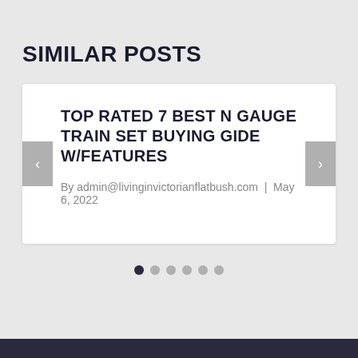SIMILAR POSTS
TOP RATED 7 BEST N GAUGE TRAIN SET BUYING GIDE W/FEATURES
By admin@livinginvictorianflatbush.com  |  May 6, 2022